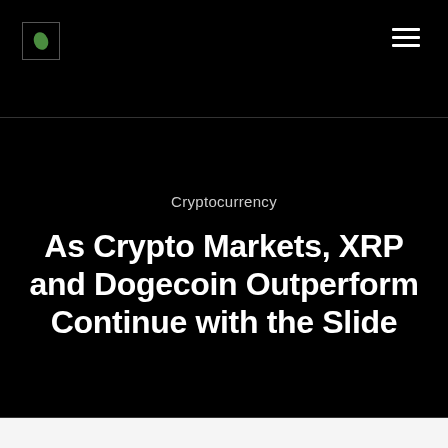Cryptocurrency
As Crypto Markets, XRP and Dogecoin Outperform Continue with the Slide